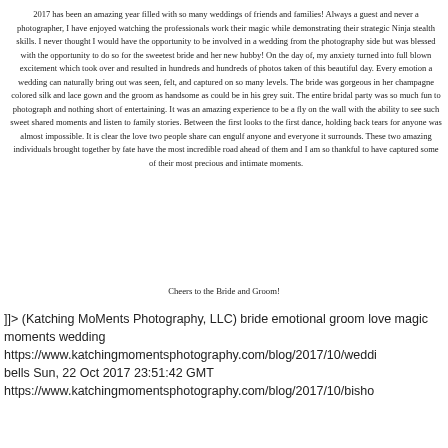2017 has been an amazing year filled with so many weddings of friends and families! Always a guest and never a photographer, I have enjoyed watching the professionals work their magic while demonstrating their strategic Ninja stealth skills. I never thought I would have the opportunity to be involved in a wedding from the photography side but was blessed with the opportunity to do so for the sweetest bride and her new hubby! On the day of, my anxiety turned into full blown excitement which took over and resulted in hundreds and hundreds of photos taken of this beautiful day. Every emotion a wedding can naturally bring out was seen, felt, and captured on so many levels. The bride was gorgeous in her champagne colored silk and lace gown and the groom as handsome as could be in his grey suit. The entire bridal party was so much fun to photograph and nothing short of entertaining. It was an amazing experience to be a fly on the wall with the ability to see such sweet shared moments and listen to family stories. Between the first looks to the first dance, holding back tears for anyone was almost impossible. It is clear the love two people share can engulf anyone and everyone it surrounds. These two amazing individuals brought together by fate have the most incredible road ahead of them and I am so thankful to have captured some of their most precious and intimate moments.
Cheers to the Bride and Groom!
]]> (Katching MoMents Photography, LLC) bride emotional groom love magic moments wedding https://www.katchingmomentsphotography.com/blog/2017/10/weddi bells Sun, 22 Oct 2017 23:51:42 GMT https://www.katchingmomentsphotography.com/blog/2017/10/bisho